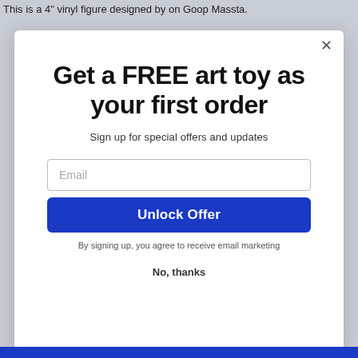This is a 4" vinyl figure designed by on Goop Massta.
Get a FREE art toy as your first order
Sign up for special offers and updates
Email
Unlock Offer
By signing up, you agree to receive email marketing
No, thanks